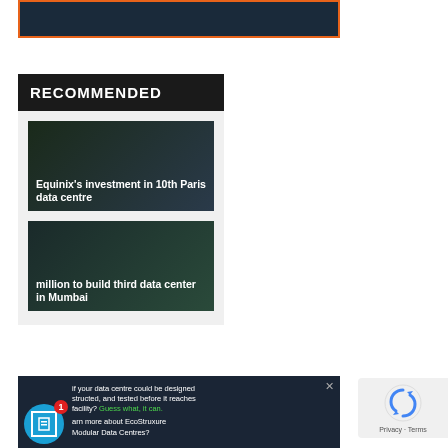[Figure (photo): Dark banner image with orange border at top of page]
RECOMMENDED
[Figure (photo): Equinix's investment in 10th Paris data centre - dark image with overlaid white text]
[Figure (photo): million to build third data center in Mumbai - dark image with overlaid white text]
[Figure (photo): Advertisement: EcoStruxure Modular Data Centres - dark background with icon and text]